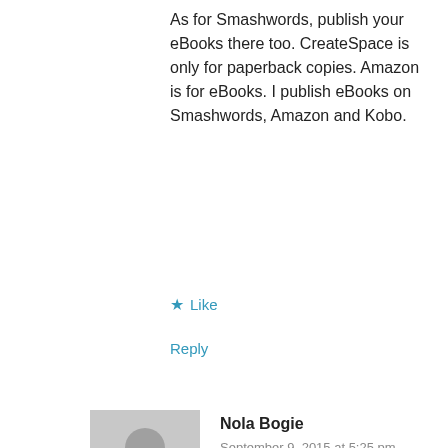As for Smashwords, publish your eBooks there too. CreateSpace is only for paperback copies. Amazon is for eBooks. I publish eBooks on Smashwords, Amazon and Kobo.
★ Like
Reply
[Figure (illustration): Generic grey user avatar with silhouette of person]
Nola Bogie
September 9, 2015 at 5:25 pm
Byron, I started leaving detailed help here last Christmas. I too am Canadian.
British and Canadian have a zero percent Royalty withholding